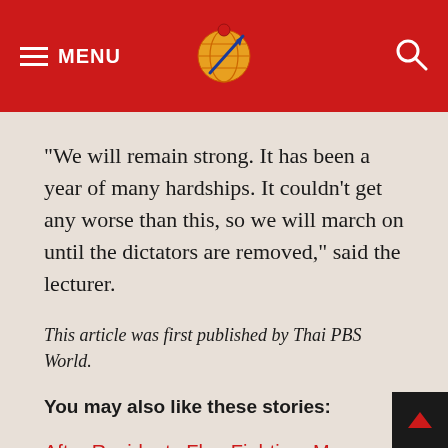MENU
“We will remain strong. It has been a year of many hardships. It couldn’t get any worse than this, so we will march on until the dictators are removed,” said the lecturer.
This article was first published by Thai PBS World.
You may also like these stories:
After Residents Flee Fighting, Myanmar Soldiers Loot Town
NUG Accuses Myanmar Junta of Committing Crimes Against Humanity